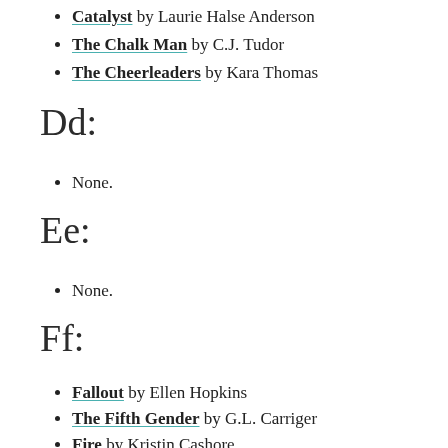Catalyst by Laurie Halse Anderson
The Chalk Man by C.J. Tudor
The Cheerleaders by Kara Thomas
Dd:
None.
Ee:
None.
Ff:
Fallout by Ellen Hopkins
The Fifth Gender by G.L. Carriger
Fire by Kristin Cashore